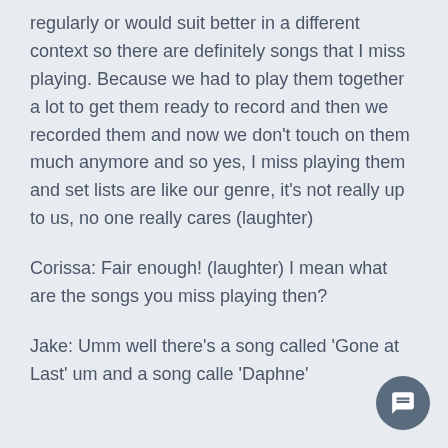regularly or would suit better in a different context so there are definitely songs that I miss playing. Because we had to play them together a lot to get them ready to record and then we recorded them and now we don't touch on them much anymore and so yes, I miss playing them and set lists are like our genre, it's not really up to us, no one really cares (laughter)
Corissa: Fair enough! (laughter) I mean what are the songs you miss playing then?
Jake: Umm well there's a song called 'Gone at Last' um and a song called 'Daphne'